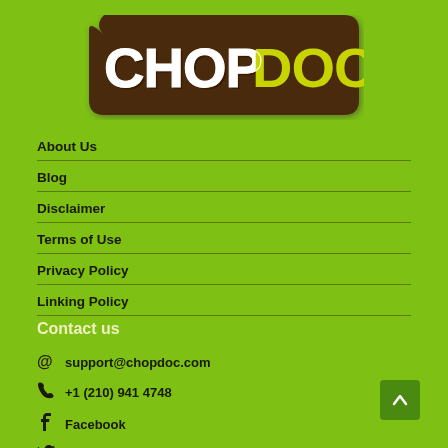[Figure (logo): ChopDoc logo with white and brown bold text on green background, stylized 3D perspective lettering]
About Us
Blog
Disclaimer
Terms of Use
Privacy Policy
Linking Policy
Contact us
support@chopdoc.com
+1 (210) 941 4748
Facebook
Twitter